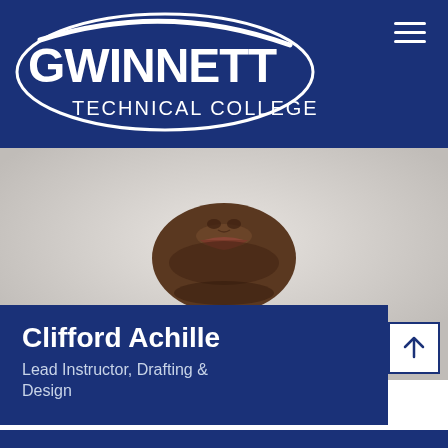Gwinnett Technical College
[Figure (photo): Headshot photo of a man from the lower face/chin and shoulders down, wearing a dark grey v-neck shirt, against a light grey/white background. Only the lower portion of the face (chin/mouth area) and torso are visible.]
Clifford Achille
Lead Instructor, Drafting & Design